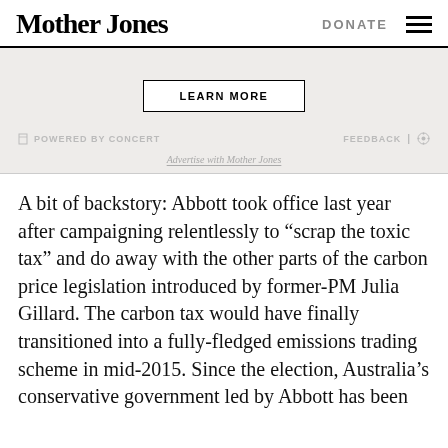Mother Jones | DONATE
[Figure (other): Advertisement block with LEARN MORE button, POWERED BY CONCERT label, FEEDBACK and gear icon, and Advertise with Mother Jones link]
A bit of backstory: Abbott took office last year after campaigning relentlessly to “scrap the toxic tax” and do away with the other parts of the carbon price legislation introduced by former-PM Julia Gillard. The carbon tax would have finally transitioned into a fully-fledged emissions trading scheme in mid-2015. Since the election, Australia’s conservative government led by Abbott has been